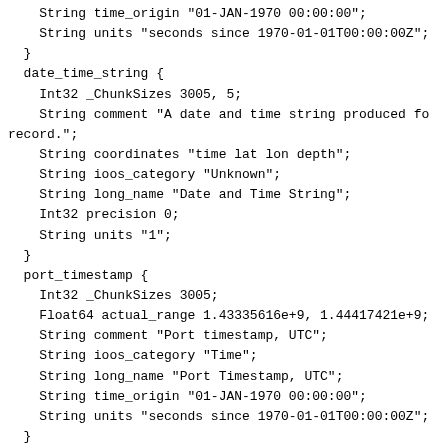String time_origin "01-JAN-1970 00:00:00";
    String units "seconds since 1970-01-01T00:00:00Z";
  }
  date_time_string {
    Int32 _ChunkSizes 3005, 5;
    String comment "A date and time string produced fo
record.";
    String coordinates "time lat lon depth";
    String ioos_category "Unknown";
    String long_name "Date and Time String";
    Int32 precision 0;
    String units "1";
  }
  port_timestamp {
    Int32 _ChunkSizes 3005;
    Float64 actual_range 1.43335616e+9, 1.44417421e+9;
    String comment "Port timestamp, UTC";
    String ioos_category "Time";
    String long_name "Port Timestamp, UTC";
    String time_origin "01-JAN-1970 00:00:00";
    String units "seconds since 1970-01-01T00:00:00Z";
  }
  pressure {
    Int32 _ChunkSizes 3005;
    Float32 _FillValue -9999999.0;
    Float32 actual_range 6.658, 7.716;